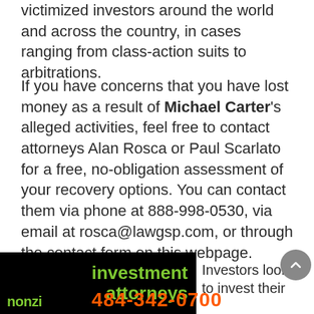victimized investors around the world and across the country, in cases ranging from class-action suits to arbitrations.
If you have concerns that you have lost money as a result of Michael Carter's alleged activities, feel free to contact attorneys Alan Rosca or Paul Scarlato for a free, no-obligation assessment of your recovery options. You can contact them via phone at 888-998-0530, via email at rosca@lawgsp.com, or through the contact form on this webpage.
[Figure (other): Black background banner with green text reading 'investment attorneys' and 'ponzi' in green on the left side]
Investors looking to invest their
484-342-0700